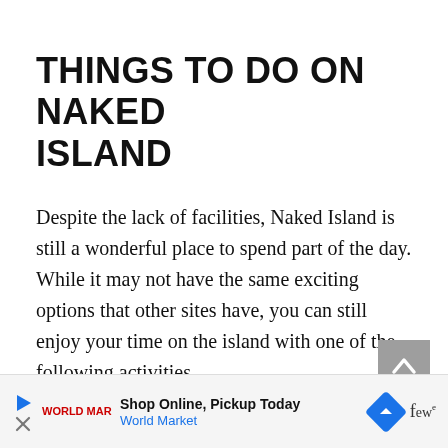THINGS TO DO ON NAKED ISLAND
Despite the lack of facilities, Naked Island is still a wonderful place to spend part of the day. While it may not have the same exciting options that other sites have, you can still enjoy your time on the island with one of the following activities.
TAKE SOME EPIC PHOTOS
The main reason to come to Naked Island
Shop Online, Pickup Today  World Market